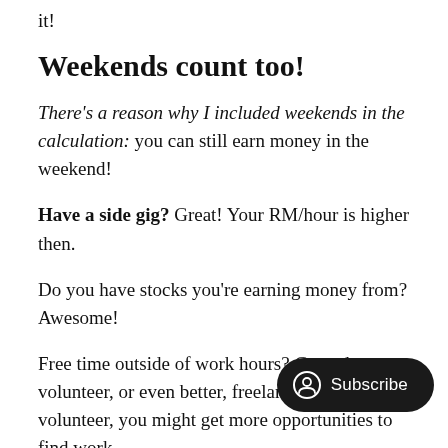it!
Weekends count too!
There's a reason why I included weekends in the calculation: you can still earn money in the weekend!
Have a side gig? Great! Your RM/hour is higher then.
Do you have stocks you're earning money from? Awesome!
Free time outside of work hours? Go and volunteer, or even better, freelance! When you volunteer, you might get more opportunities to find work
There's bound to be someone who's in need of your